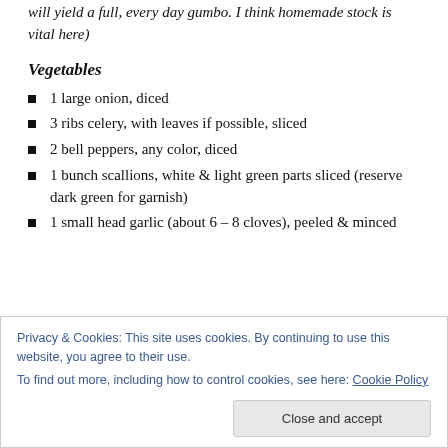will yield a full, every day gumbo. I think homemade stock is vital here)
Vegetables
1 large onion, diced
3 ribs celery, with leaves if possible, sliced
2 bell peppers, any color, diced
1 bunch scallions, white & light green parts sliced (reserve dark green for garnish)
1 small head garlic (about 6 – 8 cloves), peeled & minced
Privacy & Cookies: This site uses cookies. By continuing to use this website, you agree to their use. To find out more, including how to control cookies, see here: Cookie Policy